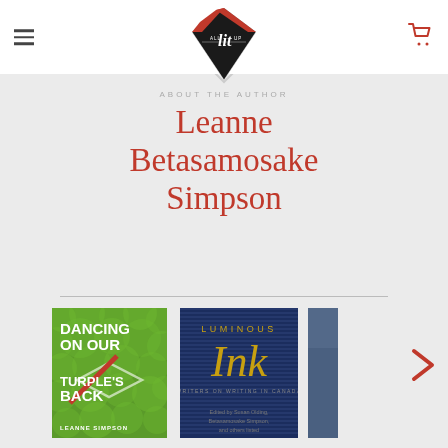[Figure (logo): All Lit Up diamond-shaped logo with red, black and white colors]
ABOUT THE AUTHOR
Leanne Betasamosake Simpson
[Figure (photo): Book cover: Dancing on Our Turtle's Back by Leanne Simpson — green bubble-pattern cover]
[Figure (photo): Book cover: Luminous Ink — dark navy with gold italic script title, subtitle Writers on Writing in Canada]
[Figure (photo): Partial book cover — third book partially visible on the right edge]